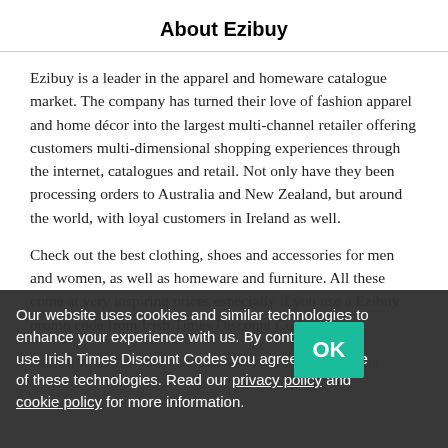About Ezibuy
Ezibuy is a leader in the apparel and homeware catalogue market. The company has turned their love of fashion apparel and home décor into the largest multi-channel retailer offering customers multi-dimensional shopping experiences through the internet, catalogues and retail. Not only have they been processing orders to Australia and New Zealand, but around the world, with loyal customers in Ireland as well.
Check out the best clothing, shoes and accessories for men and women, as well as homeware and furniture. All these come at very inspiring prices especially if you use a Ezibuy promo code from Irish Times Discount Codes.
Here at Irish Times Discount Codes, we like to save you money...
Our website uses cookies and similar technologies to enhance your experience with us. By continuing to use Irish Times Discount Codes you agree to the use of these technologies. Read our privacy policy and cookie policy for more information.